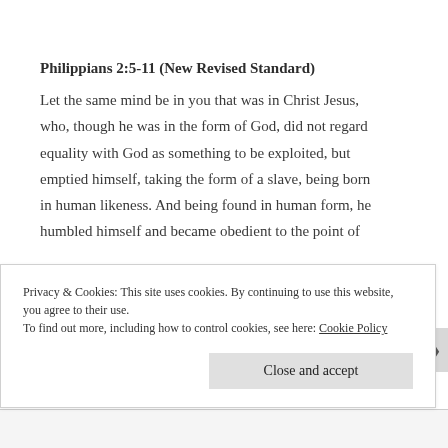Philippians 2:5-11 (New Revised Standard)
Let the same mind be in you that was in Christ Jesus, who, though he was in the form of God, did not regard equality with God as something to be exploited, but emptied himself, taking the form of a slave, being born in human likeness. And being found in human form, he humbled himself and became obedient to the point of
Privacy & Cookies: This site uses cookies. By continuing to use this website, you agree to their use.
To find out more, including how to control cookies, see here: Cookie Policy
Close and accept